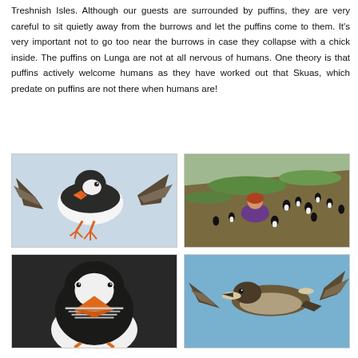Treshnish Isles. Although our guests are surrounded by puffins, they are very careful to sit quietly away from the burrows and let the puffins come to them. It's very important not to go too near the burrows in case they collapse with a chick inside. The puffins on Lunga are not at all nervous of humans. One theory is that puffins actively welcome humans as they have worked out that Skuas, which predate on puffins are not there when humans are!
[Figure (photo): A puffin in flight with wings spread wide, showing distinctive black and white plumage and orange feet, against a grey sky background.]
[Figure (photo): A person sitting on a grassy hillside among a large group of puffins, wearing a purple jacket, with the birds on the green and brown slope around them.]
[Figure (photo): Close-up front view of a puffin holding multiple small silvery fish in its brightly coloured orange beak, black and white plumage visible.]
[Figure (photo): A Skua bird in flight against a clear blue sky, wings spread showing brown and white patterning.]